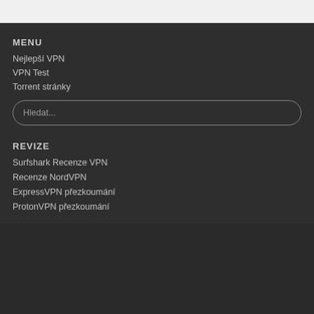MENU
Nejlepší VPN
VPN Test
Torrent stránky
Hledat...
REVIZE
Surfshark Recenze VPN
Recenze NordVPN
ExpressVPN přezkoumání
ProtonVPN přezkoumání